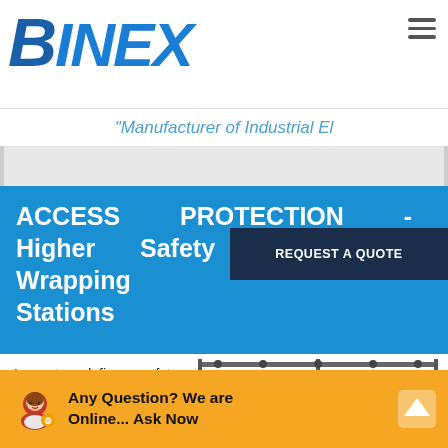BINEX
"Manufacturer of Industrial El
ACCESS PROTECTION - Higher Safety in Wrapping Stations
REQUEST A QUOTE
Inxpect redefines safety for wrapping stations. Inxpect 3D radars can be positioned overhead to
[Figure (illustration): Illustration of a wrapping station overhead safety system with green and red cone zones from suspended radar sensors]
Any Question? We are Online... Ask Now